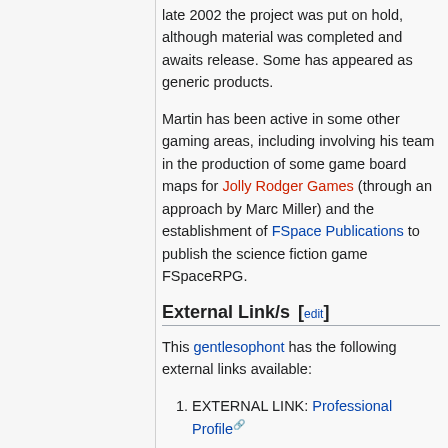late 2002 the project was put on hold, although material was completed and awaits release. Some has appeared as generic products.
Martin has been active in some other gaming areas, including involving his team in the production of some game board maps for Jolly Rodger Games (through an approach by Marc Miller) and the establishment of FSpace Publications to publish the science fiction game FSpaceRPG.
External Link/s [edit]
This gentlesophont has the following external links available:
EXTERNAL LINK: Professional Profile
EXTERNAL LINK: FSpaceRPG